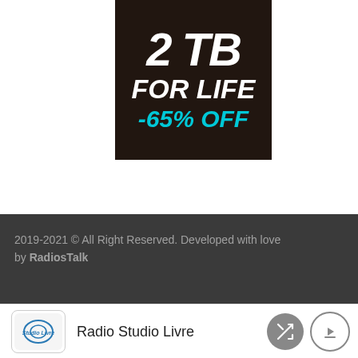[Figure (illustration): Advertisement banner on dark background showing '2 TB FOR LIFE -65% OFF' in bold white and cyan italic text]
2019-2021 © All Right Reserved. Developed with love by RadiosTalk
Radio Studio Livre